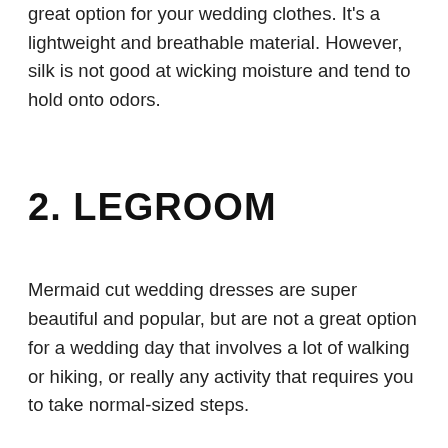great option for your wedding clothes. It's a lightweight and breathable material. However, silk is not good at wicking moisture and tend to hold onto odors.
2. LEGROOM
Mermaid cut wedding dresses are super beautiful and popular, but are not a great option for a wedding day that involves a lot of walking or hiking, or really any activity that requires you to take normal-sized steps.
When looking for your perfect dress for your